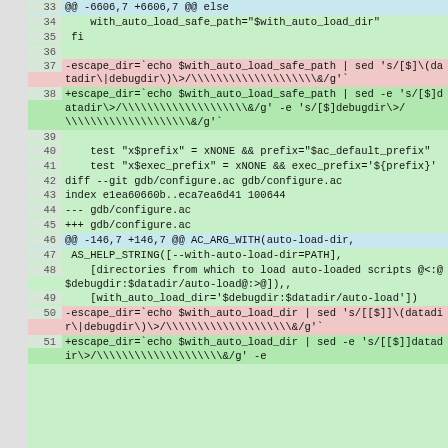[Figure (screenshot): Git diff code viewer showing lines 33-51 of a shell script and configure.ac file diff. Green background indicates added lines. Content includes changes to escape_dir variable assignments and configure.ac diff header.]